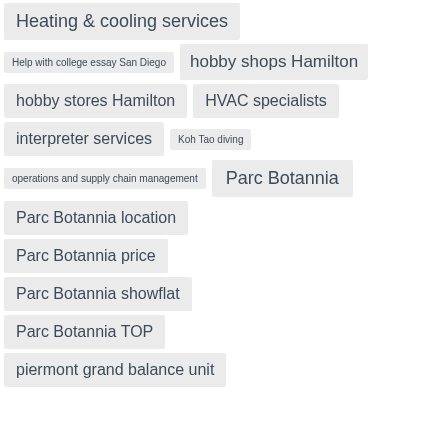Heating & cooling services
Help with college essay San Diego
hobby shops Hamilton
hobby stores Hamilton
HVAC specialists
interpreter services
Koh Tao diving
operations and supply chain management
Parc Botannia
Parc Botannia location
Parc Botannia price
Parc Botannia showflat
Parc Botannia TOP
piermont grand balance unit